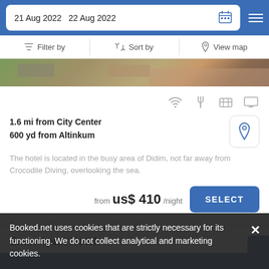21 Aug 2022   22 Aug 2022
Filter by   Sort by   View map
[Figure (photo): Aerial/overhead photo of hotel exterior with cars parked and reddish building roof visible]
1.6 mi from City Center
600 yd from Altinkum
The hotel is located in the busy area of Didim, not far away from Crocodile Diving, overlooking the sea.
from us$ 410/night   SELECT
Emin Apart Hotel
Booked.net uses cookies that are strictly necessary for its functioning. We do not collect analytical and marketing cookies.